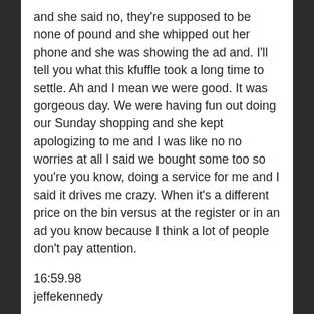and she said no, they're supposed to be none of pound and she whipped out her phone and she was showing the ad and. I'll tell you what this kfuffle took a long time to settle. Ah and I mean we were good. It was gorgeous day. We were having fun out doing our Sunday shopping and she kept apologizing to me and I was like no no worries at all I said we bought some too so you're you know, doing a service for me and I said it drives me crazy. When it's a different price on the bin versus at the register or in an ad you know because I think a lot of people don't pay attention.
16:59.98
jeffekennedy